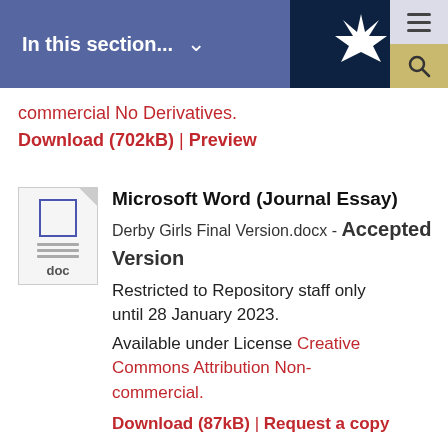In this section... ∨
commercial No Derivatives.
Download (702kB) | Preview
Microsoft Word (Journal Essay)
Derby Girls Final Version.docx - Accepted Version
Restricted to Repository staff only until 28 January 2023.
Available under License Creative Commons Attribution Non-commercial.
Download (87kB) | Request a copy